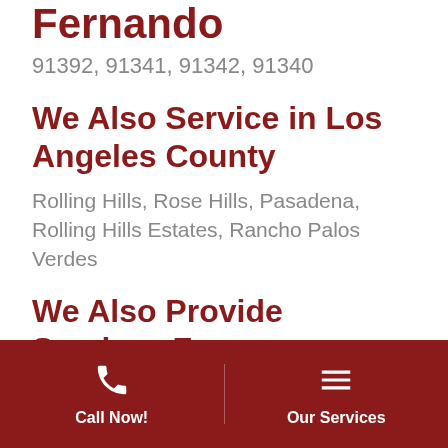Fernando
91392, 91341, 91342, 91340
We Also Service in Los Angeles County
Rolling Hills, Rose Hills, Pasadena, Rolling Hills Estates, Rancho Palos Verdes
We Also Provide Services For
Tree Trimming Services
Tree Pruning and Lacing Services
Stump Grinding Service
Emergency Tree Service
Brush Clearing
Call Now!  Our Services